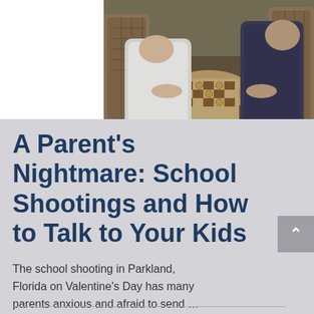[Figure (photo): Two people (adults) sitting across from each other playing a board game (checkers/draughts) on a wicker table, in an outdoor or patio setting with wicker chairs. Only their torsos and hands are visible.]
A Parent's Nightmare: School Shootings and How to Talk to Your Kids
The school shooting in Parkland, Florida on Valentine's Day has many parents anxious and afraid to send …